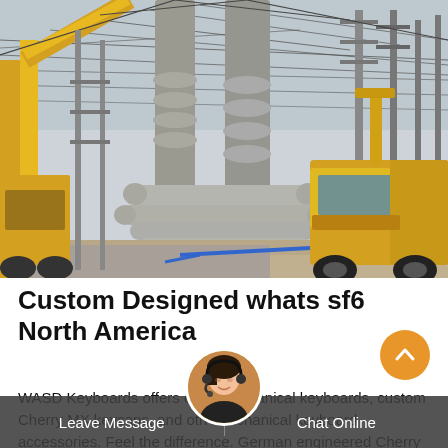[Figure (photo): Electrical substation construction site with large yellow cranes, concrete insulator columns, piping, and a yellow utility truck. High-voltage power infrastructure being installed.]
Custom Designed whats sf6 North America
WASD Keyboards offers custom mechanical keyboards, custom Cherry MX keycaps, and other mechanical keyboard accessories. Feel the difference. German engineered Cherry MX mechanical
Leave Message
Chat Online